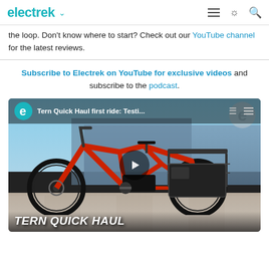electrek
the loop. Don't know where to start? Check out our YouTube channel for the latest reviews.
Subscribe to Electrek on YouTube for exclusive videos and subscribe to the podcast.
[Figure (screenshot): YouTube video thumbnail for 'Tern Quick Haul first ride: Testi...' showing a red cargo e-bike parked on pavement with panniers, text overlay 'TERN QUICK HAUL' at bottom, Electrek YouTube channel branding at top.]